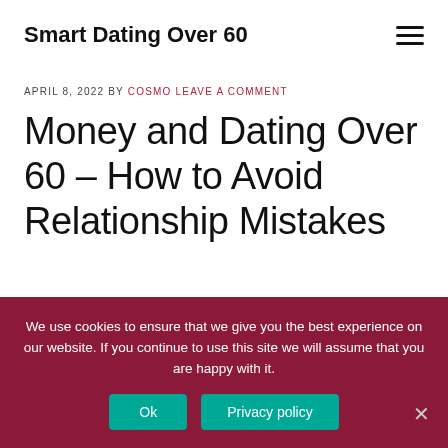Smart Dating Over 60
APRIL 8, 2022 BY COSMO LEAVE A COMMENT
Money and Dating Over 60 – How to Avoid Relationship Mistakes
We use cookies to ensure that we give you the best experience on our website. If you continue to use this site we will assume that you are happy with it.